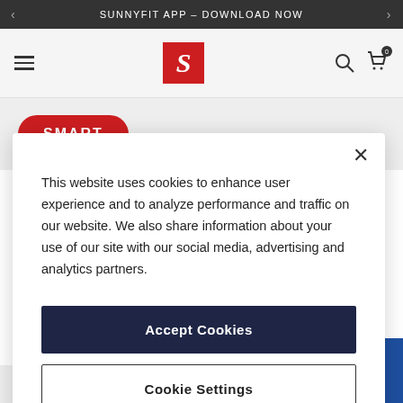SUNNYFIT APP – DOWNLOAD NOW
[Figure (logo): Sunny Health & Fitness logo: red square with white italic S]
SMART
This website uses cookies to enhance user experience and to analyze performance and traffic on our website. We also share information about your use of our site with our social media, advertising and analytics partners.
Accept Cookies
Cookie Settings